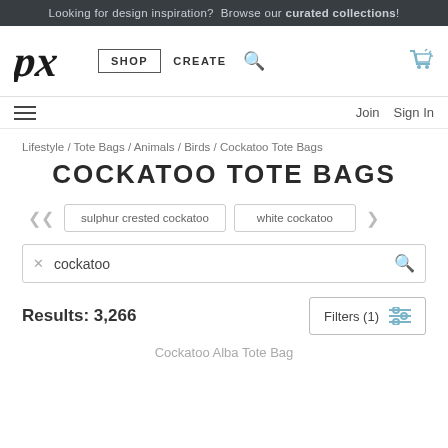Looking for design inspiration? Browse our curated collections!
[Figure (logo): Pixels (px) logo in italic bold script]
SHOP  CREATE
Join  Sign In
Lifestyle / Tote Bags / Animals / Birds / Cockatoo Tote Bags
COCKATOO TOTE BAGS
sulphur crested cockatoo  |  white cockatoo
cockatoo
Results: 3,266
Filters (1)
Cockatoo Alba Tote Bag